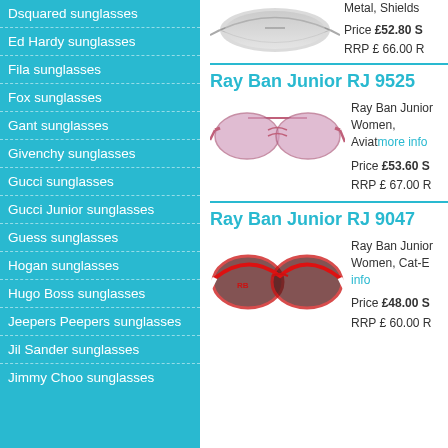Dsquared sunglasses
Ed Hardy sunglasses
Fila sunglasses
Fox sunglasses
Gant sunglasses
Givenchy sunglasses
Gucci sunglasses
Gucci Junior sunglasses
Guess sunglasses
Hogan sunglasses
Hugo Boss sunglasses
Jeepers Peepers sunglasses
Jil Sander sunglasses
Jimmy Choo sunglasses
Metal, Shields...
Price £52.80 S
RRP £ 66.00 R
[Figure (photo): Silver shield-style sunglasses with white/grey lenses]
Ray Ban Junior RJ 9525
[Figure (photo): Ray Ban Junior aviator sunglasses with pink/purple gradient lenses and pink metal frame]
Ray Ban Junior Women, Aviat... more info
Price £53.60 S
RRP £ 67.00 R
Ray Ban Junior RJ 9047
[Figure (photo): Ray Ban Junior oversized cat-eye sunglasses with red frame and white temples, dark gradient lenses]
Ray Ban Junior Women, Cat-E... info
Price £48.00 S
RRP £ 60.00 R